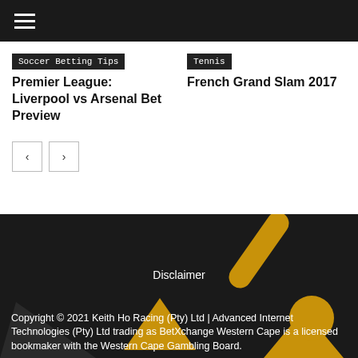Navigation menu (hamburger icon)
Soccer Betting Tips
Premier League: Liverpool vs Arsenal Bet Preview
Tennis
French Grand Slam 2017
Disclaimer
Copyright © 2021 Keith Ho Racing (Pty) Ltd | Advanced Internet Technologies (Pty) Ltd trading as BetXchange Western Cape is a licensed bookmaker with the Western Cape Gambling Board.